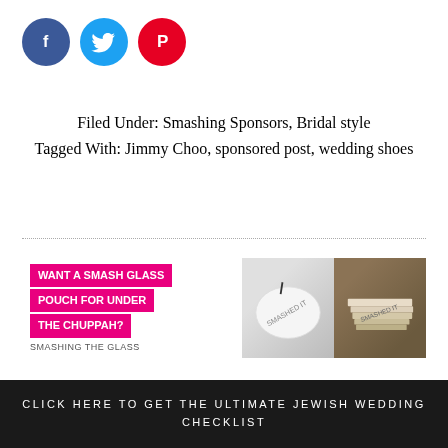[Figure (other): Social sharing icons: Facebook (blue circle), Twitter (light blue circle), Pinterest (red circle)]
Filed Under: Smashing Sponsors, Bridal style
Tagged With: Jimmy Choo, sponsored post, wedding shoes
[Figure (infographic): Advertisement banner: 'WANT A SMASH GLASS POUCH FOR UNDER THE CHUPPAH?' on pink background with SMASHING THE GLASS logo, and images of smash glass pouches]
YOU MIGHT ALSO LIKE...
CLOSE
CLICK HERE TO GET THE ULTIMATE JEWISH WEDDING CHECKLIST